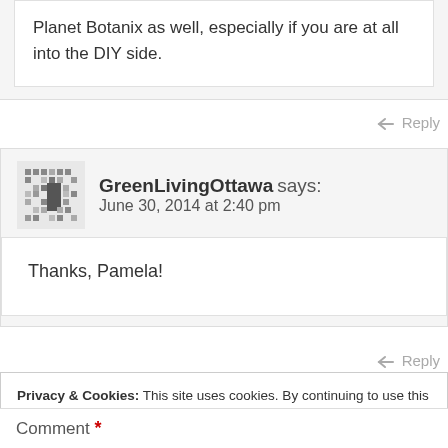Planet Botanix as well, especially if you are at all into the DIY side.
↪ Reply
GreenLivingOttawa says: June 30, 2014 at 2:40 pm
Thanks, Pamela!
↪ Reply
Privacy & Cookies: This site uses cookies. By continuing to use this website, you agree to their use. To find out more, including how to control cookies, see here: Cookie Policy
Close and accept
Comment *